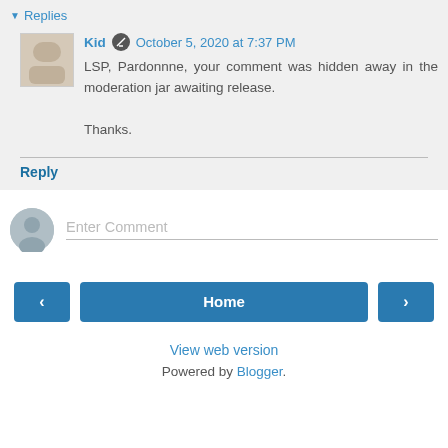Replies
Kid  October 5, 2020 at 7:37 PM
LSP, Pardonnne, your comment was hidden away in the moderation jar awaiting release.

Thanks.
Reply
Enter Comment
Home
View web version
Powered by Blogger.